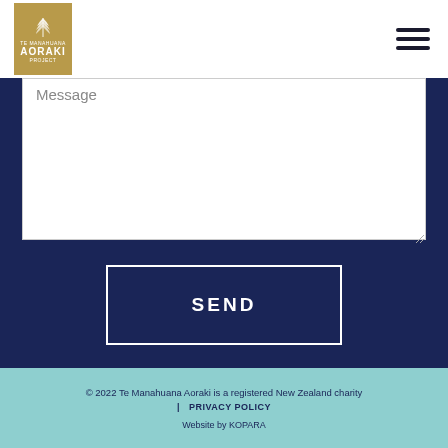[Figure (logo): Te Manahuana Aoraki Project logo - golden/amber colored logo with wheat/fern motif and text]
[Figure (other): Hamburger menu icon - three horizontal dark navy lines]
Message
SEND
© 2022 Te Manahuana Aoraki is a registered New Zealand charity | PRIVACY POLICY Website by KOPARA